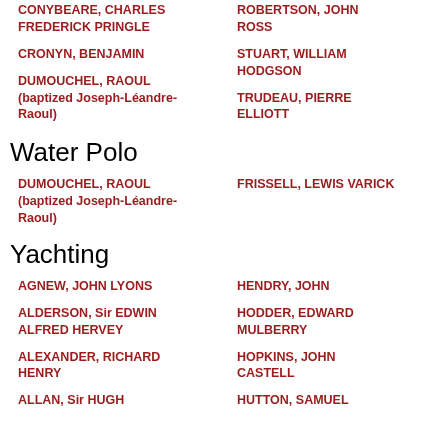CONYBEARE, CHARLES FREDERICK PRINGLE
ROBERTSON, JOHN ROSS
CRONYN, BENJAMIN
STUART, WILLIAM HODGSON
DUMOUCHEL, RAOUL (baptized Joseph-Léandre-Raoul)
TRUDEAU, PIERRE ELLIOTT
Water Polo
DUMOUCHEL, RAOUL (baptized Joseph-Léandre-Raoul)
FRISSELL, LEWIS VARICK
Yachting
AGNEW, JOHN LYONS
HENDRY, JOHN
ALDERSON, Sir EDWIN ALFRED HERVEY
HODDER, EDWARD MULBERRY
ALEXANDER, RICHARD HENRY
HOPKINS, JOHN CASTELL
ALLAN, Sir HUGH
HUTTON, SAMUEL